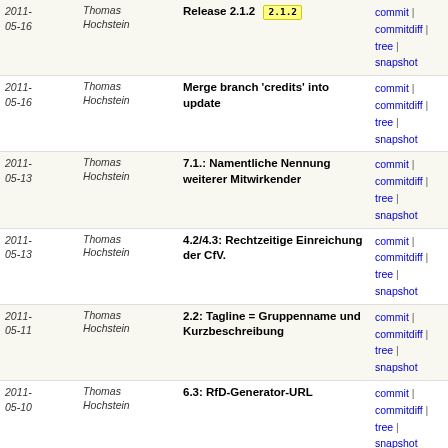| Date | Author | Commit | Links |
| --- | --- | --- | --- |
| 2011-05-16 | Thomas Hochstein | Release 2.1.2 [2.1.2] | commit | commitdiff | tree | snapshot |
| 2011-05-16 | Thomas Hochstein | Merge branch 'credits' into update | commit | commitdiff | tree | snapshot |
| 2011-05-13 | Thomas Hochstein | 7.1.: Namentliche Nennung weiterer Mitwirkender | commit | commitdiff | tree | snapshot |
| 2011-05-13 | Thomas Hochstein | 4.2/4.3: Rechtzeitige Einreichung der CfV. | commit | commitdiff | tree | snapshot |
| 2011-05-11 | Thomas Hochstein | 2.2: Tagline = Gruppenname und Kurzbeschreibung | commit | commitdiff | tree | snapshot |
| 2011-05-10 | Thomas Hochstein | 6.3: RfD-Generator-URL | commit | commitdiff | tree | snapshot |
| 2011-05-10 | Thomas Hochstein | Release 2.1.1 [2.1.1] | commit | commitdiff | tree | snapshot |
| 2011-05-08 | Thomas Hochstein | 4.2: Typo korrigiert. | commit | commitdiff | tree | snapshot |
| 2011-05-08 | Thomas Hochstein | Merge branch 'wesentlich' into update | commit | commitdiff | tree | snapshot |
| 2011-05-08 | Thomas Hochstein | Merge branch 'postingdaten' into update | commit | commitdiff | tree | snapshot |
| 2011- | Thomas | Merge branches 'typos' and | commit |